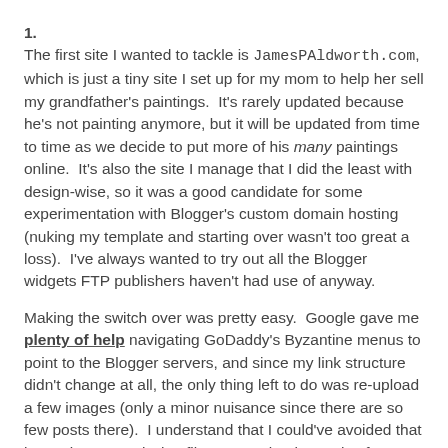1.
The first site I wanted to tackle is JamesPAldworth.com, which is just a tiny site I set up for my mom to help her sell my grandfather's paintings.  It's rarely updated because he's not painting anymore, but it will be updated from time to time as we decide to put more of his many paintings online.  It's also the site I manage that I did the least with design-wise, so it was a good candidate for some experimentation with Blogger's custom domain hosting (nuking my template and starting over wasn't too great a loss).  I've always wanted to try out all the Blogger widgets FTP publishers haven't had use of anyway.
Making the switch over was pretty easy.  Google gave me plenty of help navigating GoDaddy's Byzantine menus to point to the Blogger servers, and since my link structure didn't change at all, the only thing left to do was re-upload a few images (only a minor nuisance since there are so few posts there).  I understand that I could've avoided that by setting up a missing files server, but honestly after thinking about it I became excited not to have to pay for hosting